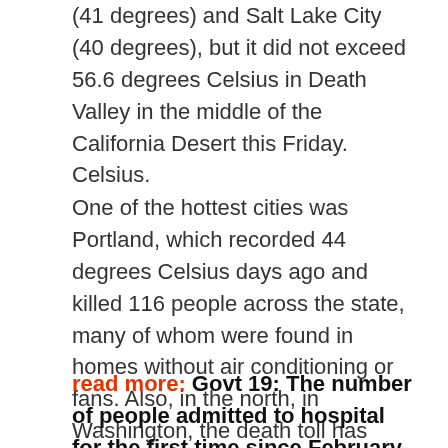(41 degrees) and Salt Lake City (40 degrees), but it did not exceed 56.6 degrees Celsius in Death Valley in the middle of the California Desert this Friday. Celsius.
One of the hottest cities was Portland, which recorded 44 degrees Celsius days ago and killed 116 people across the state, many of whom were found in homes without air conditioning or fans. Also, in the north, in Washington, the death toll has risen to 78 since the end of June, with more than four fires.
read more: Govt 19: The number of people admitted to hospital for the first time since February reaches 50,000